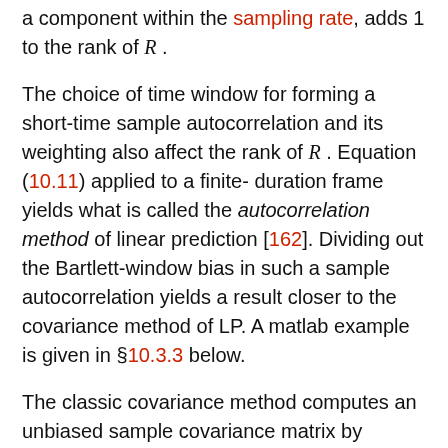a component within the sampling rate, adds 1 to the rank of R.
The choice of time window for forming a short-time sample autocorrelation and its weighting also affect the rank of R. Equation (10.11) applied to a finite-duration frame yields what is called the autocorrelation method of linear prediction [162]. Dividing out the Bartlett-window bias in such a sample autocorrelation yields a result closer to the covariance method of LP. A matlab example is given in §10.3.3 below.
The classic covariance method computes an unbiased sample covariance matrix by limiting the summation in (10.11) to a range over which y_m(n+l) stays within the frame–a so-called ``unwindowed'' method. The autocorrelation method